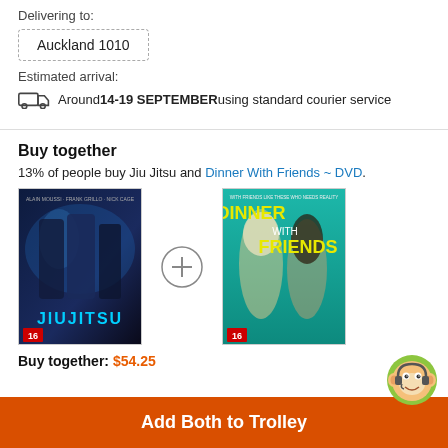Delivering to:
Auckland 1010
Estimated arrival:
Around 14-19 SEPTEMBER using standard courier service
Buy together
13% of people buy Jiu Jitsu and Dinner With Friends ~ DVD.
[Figure (photo): Jiu Jitsu DVD cover showing action movie characters with blue and dark tones]
[Figure (photo): Dinner With Friends DVD cover showing two women on teal background]
Buy together: $54.25
Add Both to Trolley